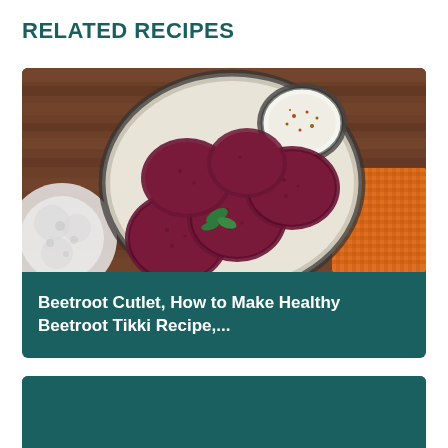RELATED RECIPES
[Figure (photo): Beetroot cutlets/tikki served in a white bowl with a small bowl of yogurt dip, garnished with mint leaves, on a wooden table with lace cloth and orange woven mat]
Beetroot Cutlet, How to Make Healthy Beetroot Tikki Recipe,...
[Figure (photo): Second recipe card with teal/dark green background, partially visible]